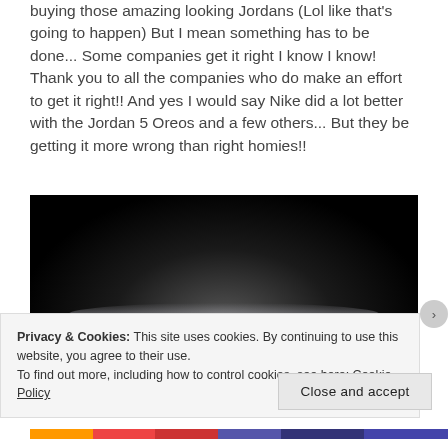buying those amazing looking Jordans (Lol like that's going to happen) But I mean something has to be done... Some companies get it right I know I know! Thank you to all the companies who do make an effort to get it right!! And yes I would say Nike did a lot better with the Jordan 5 Oreos and a few others... But they be getting it more wrong than right homies!!
[Figure (photo): Close-up photo of a dark/black sneaker sole, very dark background, slight reflective sheen at the bottom edge]
Privacy & Cookies: This site uses cookies. By continuing to use this website, you agree to their use.
To find out more, including how to control cookies, see here: Cookie Policy
Close and accept